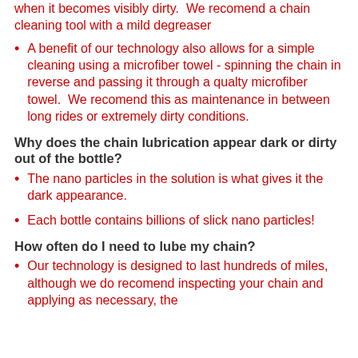...when it becomes visibly dirty. We recomend a chain cleaning tool with a mild degreaser
A benefit of our technology also allows for a simple cleaning using a microfiber towel - spinning the chain in reverse and passing it through a qualty microfiber towel. We recomend this as maintenance in between long rides or extremely dirty conditions.
Why does the chain lubrication appear dark or dirty out of the bottle?
The nano particles in the solution is what gives it the dark appearance.
Each bottle contains billions of slick nano particles!
How often do I need to lube my chain?
Our technology is designed to last hundreds of miles, although we do recomend inspecting your chain and applying as necessary, the...